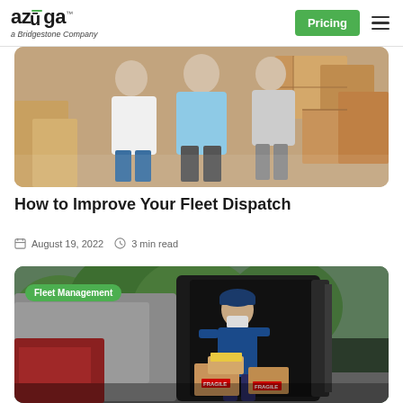azüga™ a Bridgestone Company | Pricing
[Figure (photo): Partially visible photo of people near cardboard boxes in a warehouse or moving setting]
How to Improve Your Fleet Dispatch
August 19, 2022  3 min read
[Figure (photo): Delivery worker in blue uniform and mask unloading cardboard boxes from a van, with green trees in background. Fleet Management tag overlay.]